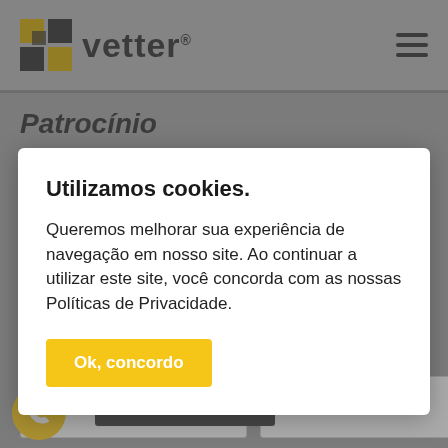[Figure (logo): Vetter company logo with gold and black squares grid and 'vetter' wordmark]
Patrocínio
[Figure (screenshot): Cookie consent modal dialog overlay on a website page]
Utilizamos cookies.
Queremos melhorar sua experiência de navegação em nosso site. Ao continuar a utilizar este site, você concorda com as nossas Políticas de Privacidade.
Ok, concordo
Nome
Ligamos para você
E-mail